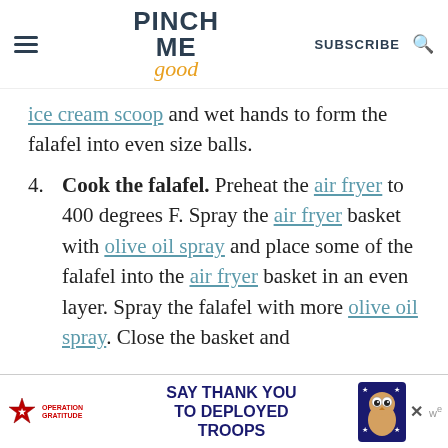PINCH ME good | SUBSCRIBE
ice cream scoop and wet hands to form the falafel into even size balls.
4. Cook the falafel. Preheat the air fryer to 400 degrees F. Spray the air fryer basket with olive oil spray and place some of the falafel into the air fryer basket in an even layer. Spray the falafel with more olive oil spray. Close the basket and
[Figure (infographic): Operation Gratitude advertisement banner: 'SAY THANK YOU TO DEPLOYED TROOPS' with patriotic owl illustration and close button]